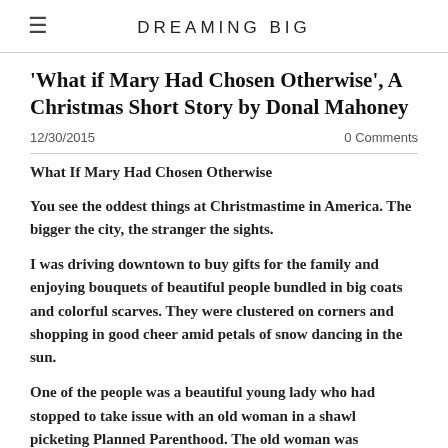DREAMING BIG
'What if Mary Had Chosen Otherwise', A Christmas Short Story by Donal Mahoney
12/30/2015    0 Comments
What If Mary Had Chosen Otherwise
You see the oddest things at Christmastime in America. The bigger the city, the stranger the sights.
I was driving downtown to buy gifts for the family and enjoying bouquets of beautiful people bundled in big coats and colorful scarves. They were clustered on corners and shopping in good cheer amid petals of snow dancing in the sun.
One of the people was a beautiful young lady who had stopped to take issue with an old woman in a shawl picketing Planned Parenthood. The old woman was